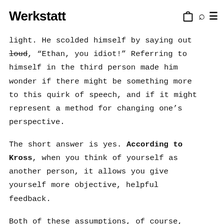Werkstatt
mindlessness: He accidentally ran a red light. He scolded himself by saying out loud, “Ethan, you idiot!” Referring to himself in the third person made him wonder if there might be something more to this quirk of speech, and if it might represent a method for changing one’s perspective.
The short answer is yes. According to Kross, when you think of yourself as another person, it allows you give yourself more objective, helpful feedback.
Both of these assumptions, of course,